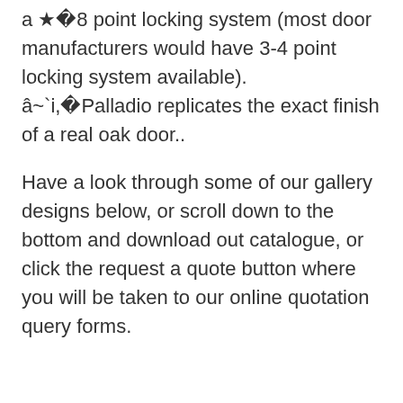â˜¦ï¸8 point locking system (most door manufacturers would have 3-4 point locking system available).
â˜¦ï¸Palladio replicates the exact finish of a real oak door..
Have a look through some of our gallery designs below, or scroll down to the bottom and download out catalogue, or click the request a quote button where you will be taken to our online quotation query forms.